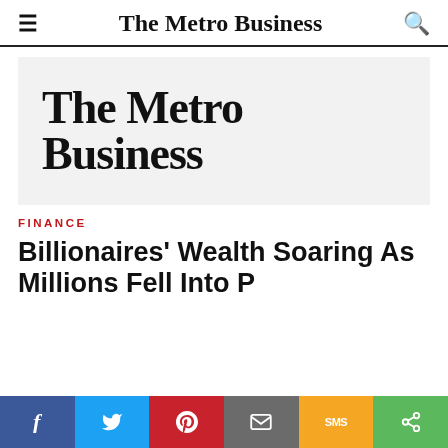The Metro Business
[Figure (logo): The Metro Business logo banner on light grey background]
FINANCE
Billionaires' Wealth Soaring As Millions Fell Into Poverty During The